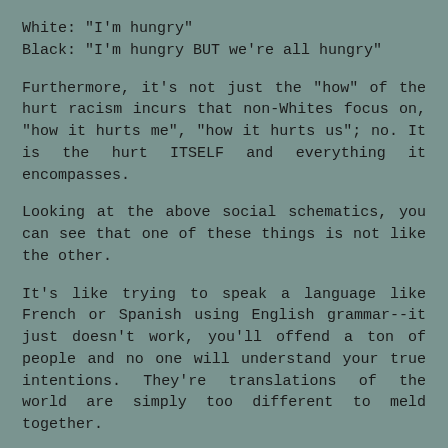White: "I'm hungry"
Black: "I'm hungry BUT we're all hungry"
Furthermore, it's not just the "how" of the hurt racism incurs that non-Whites focus on, "how it hurts me", "how it hurts us"; no. It is the hurt ITSELF and everything it encompasses.
Looking at the above social schematics, you can see that one of these things is not like the other.
It's like trying to speak a language like French or Spanish using English grammar--it just doesn't work, you'll offend a ton of people and no one will understand your true intentions. They're translations of the world are simply too different to meld together.
I appreciate you writing here and having the courage to visit Macon's site. I also wish to offer you a free internet clap for attempting to speak to Black people about racism *clap clap clap*